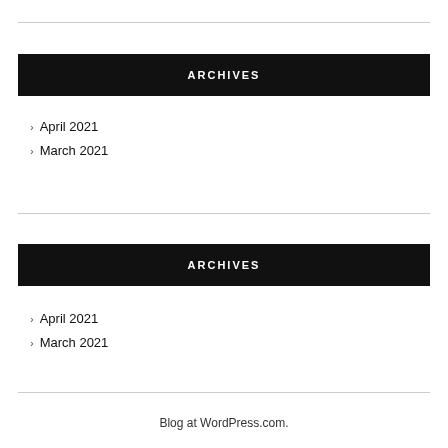ARCHIVES
April 2021
March 2021
ARCHIVES
April 2021
March 2021
Blog at WordPress.com.